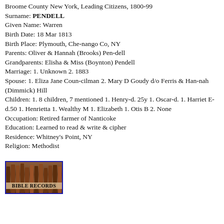Broome County New York, Leading Citizens, 1800-99
Surname: PENDELL
Given Name: Warren
Birth Date: 18 Mar 1813
Birth Place: Plymouth, Che-nango Co, NY
Parents: Oliver & Hannah (Brooks) Pen-dell
Grandparents: Elisha & Miss (Boynton) Pendell
Marriage: 1. Unknown 2. 1883
Spouse: 1. Eliza Jane Coun-cilman 2. Mary D Goudy d/o Ferris & Han-nah (Dimmick) Hill
Children: 1. 8 children, 7 mentioned 1. Henry-d. 25y 1. Oscar-d. 1. Harriet E-d.50 1. Henrietta 1. Wealthy M 1. Elizabeth 1. Otis B 2. None
Occupation: Retired farmer of Nanticoke
Education: Learned to read & write & cipher
Residence: Whitney's Point, NY
Religion: Methodist
[Figure (illustration): Image of books on a shelf with the label BIBLE RECORDS, bordered in blue]